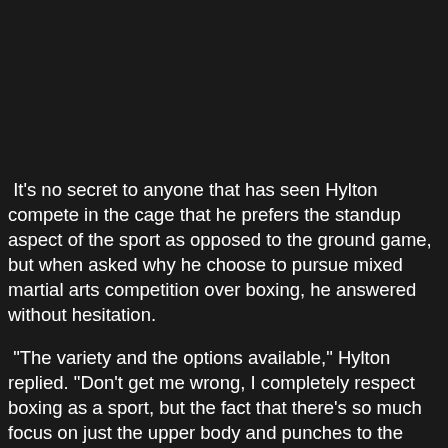It's no secret to anyone that has seen Hylton compete in the cage that he prefers the standup aspect of the sport as opposed to the ground game, but when asked why he choose to pursue mixed martial arts competition over boxing, he answered without hesitation.
“The variety and the options available,” Hylton replied. “Don't get me wrong, I completely respect boxing as a sport, but the fact that there’s so much focus on just the upper body and punches to the head and more frequently than not. I mean, we’re all looking for the knockout shot, but MMA offered the opportunity to really open up and give us more of a realistic approach to one-on-one combat. I mean as long as you play fair, you get to use all the same tools and figure out how to play a different kind of game that still beats the